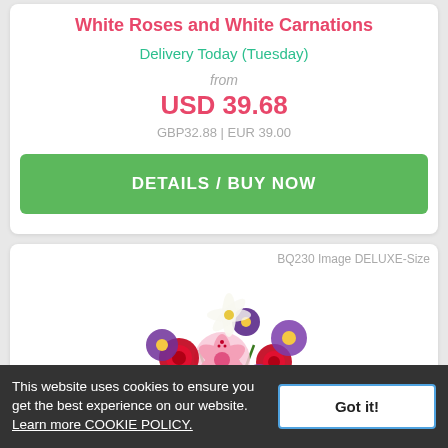White Roses and White Carnations
Delivery Today (Tuesday)
from
USD 39.68
GBP32.88 | EUR 39.00
DETAILS / BUY NOW
BQ230 Image DELUXE-Size
[Figure (photo): Colorful flower bouquet with red roses, pink stargazer lilies, purple asters, and white lilies]
This website uses cookies to ensure you get the best experience on our website. Learn more COOKIE POLICY.
Got it!